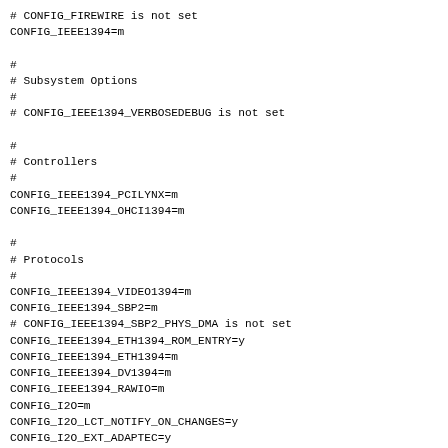# CONFIG_FIREWIRE is not set
CONFIG_IEEE1394=m

#
# Subsystem Options
#
# CONFIG_IEEE1394_VERBOSEDEBUG is not set

#
# Controllers
#
CONFIG_IEEE1394_PCILYNX=m
CONFIG_IEEE1394_OHCI1394=m

#
# Protocols
#
CONFIG_IEEE1394_VIDEO1394=m
CONFIG_IEEE1394_SBP2=m
# CONFIG_IEEE1394_SBP2_PHYS_DMA is not set
CONFIG_IEEE1394_ETH1394_ROM_ENTRY=y
CONFIG_IEEE1394_ETH1394=m
CONFIG_IEEE1394_DV1394=m
CONFIG_IEEE1394_RAWIO=m
CONFIG_I2O=m
CONFIG_I2O_LCT_NOTIFY_ON_CHANGES=y
CONFIG_I2O_EXT_ADAPTEC=y
# CONFIG_I2O_EXT_ADAPTEC_DMA64 is not set
CONFIG_I2O_CONFIG=m
CONFIG_I2O_CONFIG_OLD_IOCTL=y